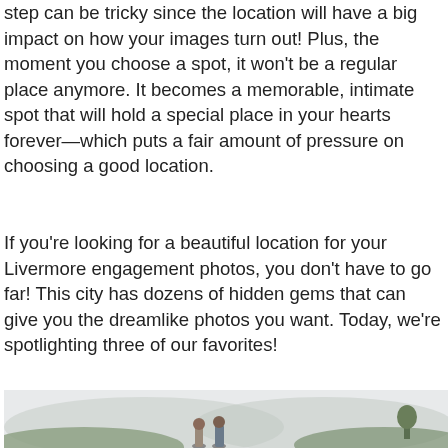step can be tricky since the location will have a big impact on how your images turn out! Plus, the moment you choose a spot, it won't be a regular place anymore. It becomes a memorable, intimate spot that will hold a special place in your hearts forever—which puts a fair amount of pressure on choosing a good location.
If you're looking for a beautiful location for your Livermore engagement photos, you don't have to go far! This city has dozens of hidden gems that can give you the dreamlike photos you want. Today, we're spotlighting three of our favorites!
[Figure (photo): Couple standing outdoors in a scenic mountainous landscape with rolling green hills and a bright hazy sky. A man and woman are visible in the foreground.]